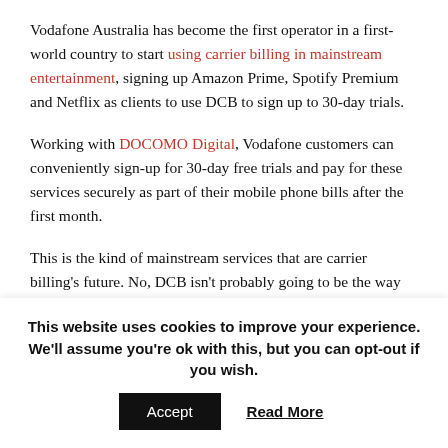Vodafone Australia has become the first operator in a first-world country to start using carrier billing in mainstream entertainment, signing up Amazon Prime, Spotify Premium and Netflix as clients to use DCB to sign up to 30-day trials.
Working with DOCOMO Digital, Vodafone customers can conveniently sign-up for 30-day free trials and pay for these services securely as part of their mobile phone bills after the first month.
This is the kind of mainstream services that are carrier billing's future. No, DCB isn't probably going to be the way that people regularly pay their subs, but it is a tool to start getting people on board, or snacking services that they would otherwise be paying
This website uses cookies to improve your experience. We'll assume you're ok with this, but you can opt-out if you wish.
Accept | Read More